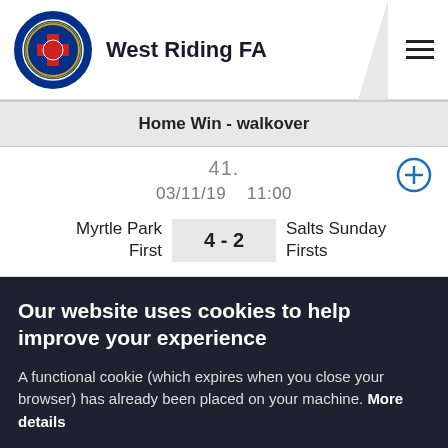West Riding FA
Home Win - walkover
41.
03/11/19   11:00
Myrtle Park First  4 - 2  Salts Sunday Firsts
Our website uses cookies to help improve your experience
A functional cookie (which expires when you close your browser) has already been placed on your machine. More details
ACCEPT COOKIES